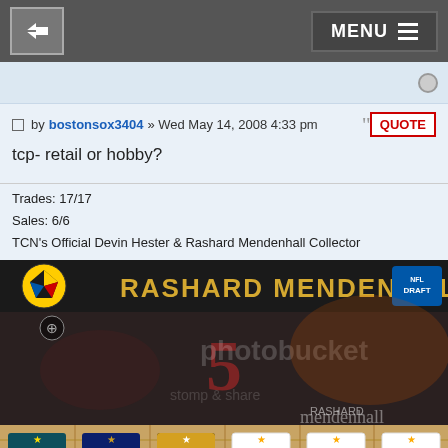MENU
by bostonsox3404 » Wed May 14, 2008 4:33 pm
tcp- retail or hobby?
Trades: 17/17
Sales: 6/6
TCN's Official Devin Hester & Rashard Mendenhall Collector
[Figure (photo): Rashard Mendenhall HB banner with Steelers logo and NFL Draft logo, followed by action photo of player #5, then jersey display row with Hester #23, Urlacher #54, Mendenhall #34, Hamels #35, #19, #15]